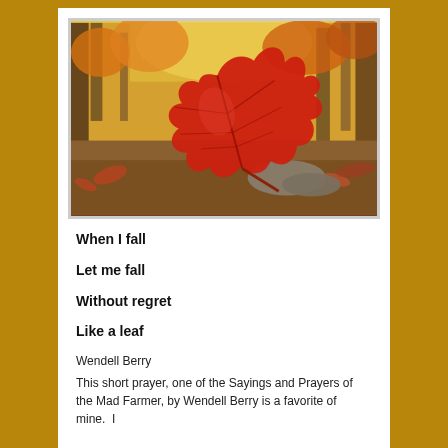[Figure (photo): Autumn forest scene with a large red maple leaf in the foreground lying on the ground among other fallen leaves, with yellow and orange trees visible in the background.]
When I fall
Let me fall
Without regret
Like a leaf
Wendell Berry
This short prayer, one of the Sayings and Prayers of the Mad Farmer, by Wendell Berry is a favorite of mine.  I